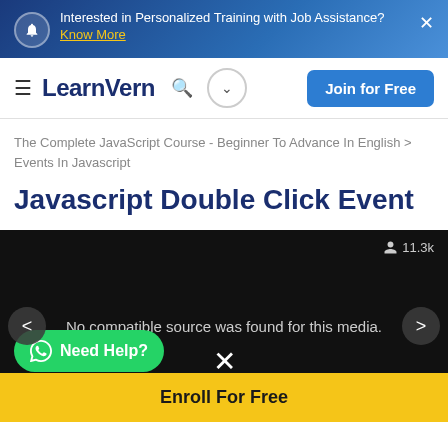Interested in Personalized Training with Job Assistance? Know More
LearnVern — Join for Free
The Complete JavaScript Course - Beginner To Advance In English > Events In Javascript
Javascript Double Click Event
[Figure (screenshot): Video player area showing 'No compatible source was found for this media.' with 11.3k viewers, navigation arrows, Need Help button, and X close icon]
Enroll For Free